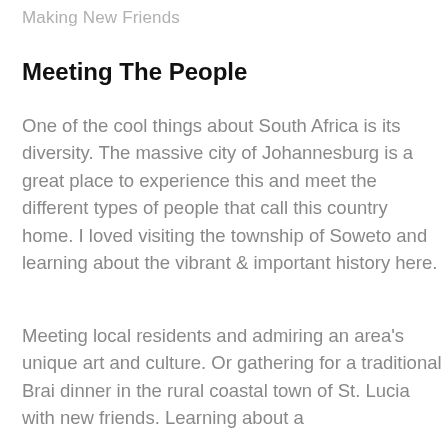Making New Friends
Meeting The People
One of the cool things about South Africa is its diversity. The massive city of Johannesburg is a great place to experience this and meet the different types of people that call this country home. I loved visiting the township of Soweto and learning about the vibrant & important history here.
Meeting local residents and admiring an area's unique art and culture. Or gathering for a traditional Brai dinner in the rural coastal town of St. Lucia with new friends. Learning about a